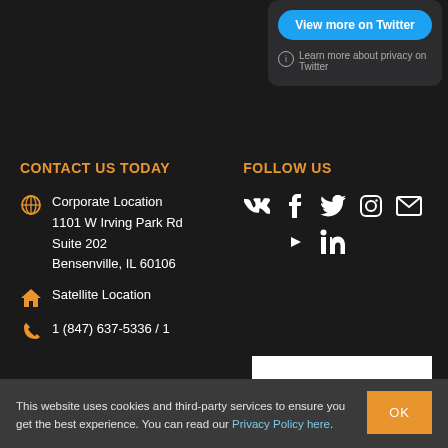[Figure (screenshot): Twitter embed widget with 'View more on Twitter' button and privacy notice]
CONTACT US TODAY
FOLLOW US
Corporate Location
1101 W Irving Park Rd
Suite 202
Bensenville, IL 60106
Satellite Location
1 (847) 637-5336 / 1
[Figure (infographic): Social media icons: VK, Facebook, Twitter, Instagram, Email, YouTube, LinkedIn]
This website uses cookies and third-party services to ensure you get the best experience. You can read our Privacy Policy here.